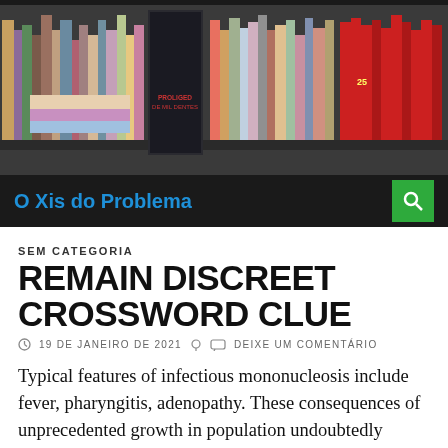[Figure (photo): Photograph of bookshelves with many colorful books arranged upright, including a dark book titled 'PROLIGED DE MIL DENTES' and various other titles. The shelves are packed with books of various colors.]
O Xis do Problema
SEM CATEGORIA
REMAIN DISCREET CROSSWORD CLUE
19 DE JANEIRO DE 2021   DEIXE UM COMENTÁRIO
Typical features of infectious mononucleosis include fever, pharyngitis, adenopathy. These consequences of unprecedented growth in population undoubtedly played a